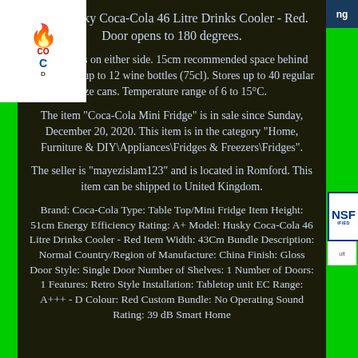New Husky Coca-Cola 46 Litre Drinks Cooler - Red. Door opens to 180 degrees.
Door opens on either side. 15cm recommended space behind unit. Stores up to 12 wine bottles (75cl). Stores up to 40 regular size cans. Temperature range of 6 to 15°C.
The item "Coca-Cola Mini Fridge" is in sale since Sunday, December 20, 2020. This item is in the category "Home, Furniture & DIY\Appliances\Fridges & Freezers\Fridges".
The seller is "mayezislam123" and is located in Romford. This item can be shipped to United Kingdom.
Brand: Coca-Cola Type: Table Top/Mini Fridge Item Height: 51cm Energy Efficiency Rating: A+ Model: Husky Coca-Cola 46 Litre Drinks Cooler - Red Item Width: 43Cm Bundle Description: Normal Country/Region of Manufacture: China Finish: Gloss Door Style: Single Door Number of Shelves: 1 Number of Doors: 1 Features: Retro Style Installation: Tabletop unit EC Range: A+++ - D Colour: Red Custom Bundle: No Operating Sound Rating: 39 dB Smart Home